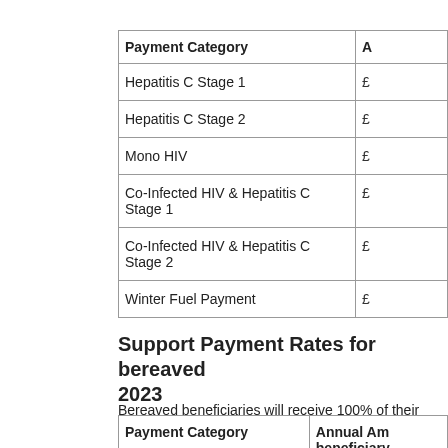| Payment Category | A |
| --- | --- |
| Hepatitis C Stage 1 | £ |
| Hepatitis C Stage 2 | £ |
| Mono HIV | £ |
| Co-Infected HIV & Hepatitis C Stage 1 | £ |
| Co-Infected HIV & Hepatitis C Stage 2 | £ |
| Winter Fuel Payment | £ |
Support Payment Rates for bereaved 2023
Bereaved beneficiaries will receive 100% of their rate in the first year and then 75% of that rate from the...
| Payment Category | Annual Am beneficiary |
| --- | --- |